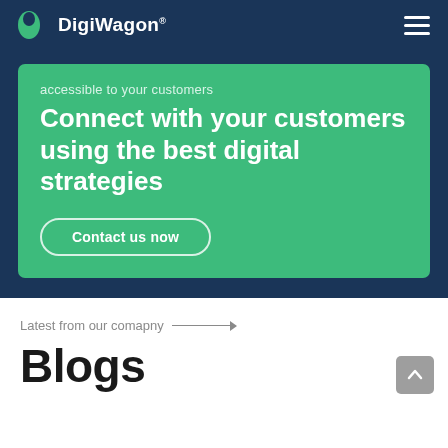DigiWagon
accessible to your customers
Connect with your customers using the best digital strategies
Contact us now
Latest from our comapny
Blogs